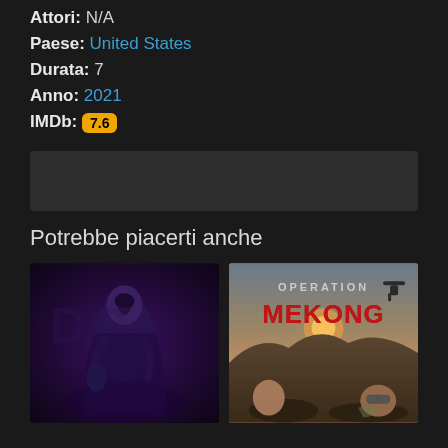Attori: N/A
Paese: United States
Durata: 7
Anno: 2021
IMDb: 7.6
[Figure (other): Advertisement banner placeholder]
Potrebbe piacerti anche
[Figure (illustration): Animated sci-fi movie poster with dark purple tones showing armored/masked character holding another figure]
[Figure (photo): Operation Mekong movie poster with red bold text 'OPERATION MEKONG' over soldiers in a wartime scene with helicopters and dramatic sunset]